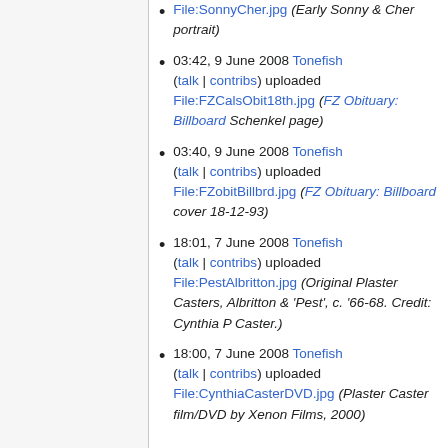File:SonnyCher.jpg (Early Sonny & Cher portrait)
03:42, 9 June 2008 Tonefish (talk | contribs) uploaded File:FZCalsObit18th.jpg (FZ Obituary: Billboard Schenkel page)
03:40, 9 June 2008 Tonefish (talk | contribs) uploaded File:FZobitBillbrd.jpg (FZ Obituary: Billboard cover 18-12-93)
18:01, 7 June 2008 Tonefish (talk | contribs) uploaded File:PestAlbritton.jpg (Original Plaster Casters, Albritton & 'Pest', c. '66-68. Credit: Cynthia P Caster.)
18:00, 7 June 2008 Tonefish (talk | contribs) uploaded File:CynthiaCasterDVD.jpg (Plaster Caster film/DVD by Xenon Films, 2000)